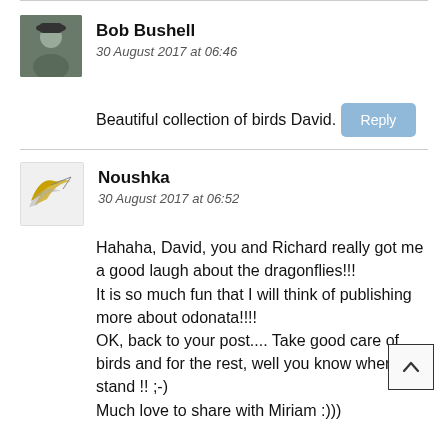Bob Bushell
30 August 2017 at 06:46
Beautiful collection of birds David.
Reply
Noushka
30 August 2017 at 06:52
Hahaha, David, you and Richard really got me a good laugh about the dragonflies!!!
It is so much fun that I will think of publishing more about odonata!!!!
OK, back to your post.... Take good care of birds and for the rest, well you know where stand !! ;-)
Much love to share with Miriam :)))